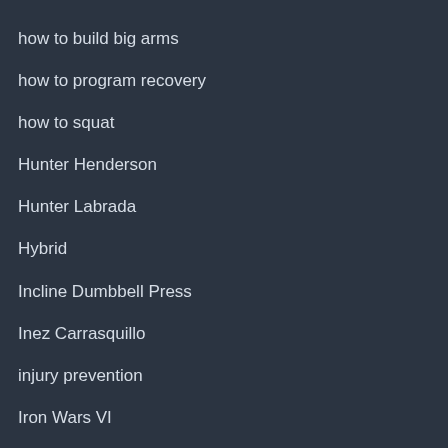how to build big arms
how to program recovery
how to squat
Hunter Henderson
Hunter Labrada
Hybrid
Incline Dumbbell Press
Inez Carrasquillo
injury prevention
Iron Wars VI
Isaac Maze
Jamal Browner
Jay Cutler